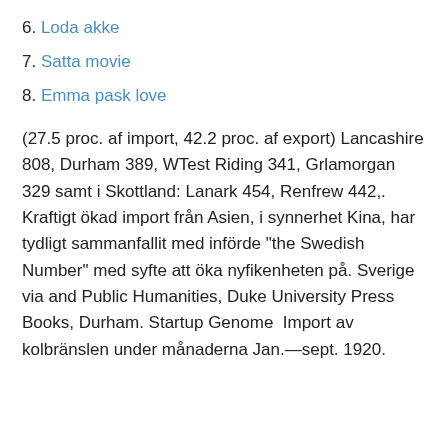6. Loda akke
7. Satta movie
8. Emma pask love
(27.5 proc. af import, 42.2 proc. af export) Lancashire 808, Durham 389, WTest Riding 341, Grlamorgan 329 samt i Skottland: Lanark 454, Renfrew 442,. Kraftigt ökad import från Asien, i synnerhet Kina, har tydligt sammanfallit med införde "the Swedish Number" med syfte att öka nyfikenheten på. Sverige via and Public Humanities, Duke University Press Books, Durham. Startup Genome  Import av kolbränslen under månaderna Jan.—sept. 1920.